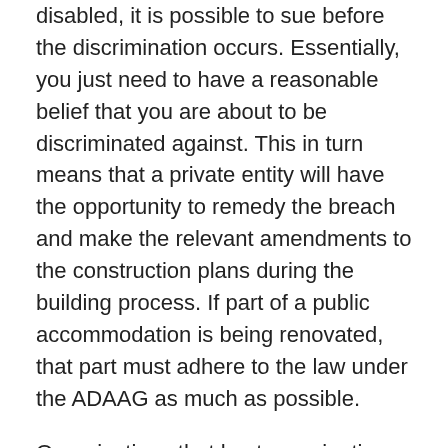disabled, it is possible to sue before the discrimination occurs. Essentially, you just need to have a reasonable belief that you are about to be discriminated against. This in turn means that a private entity will have the opportunity to remedy the breach and make the relevant amendments to the construction plans during the building process. If part of a public accommodation is being renovated, that part must adhere to the law under the ADAAG as much as possible.
Organizations that host examinations and courses, whether secondary or postsecondary or for trade or professional purposes, must ensure accessibility to disabled people. This applies not only in terms of the actual location of the building, but also in relation to access to the location of the class or examination